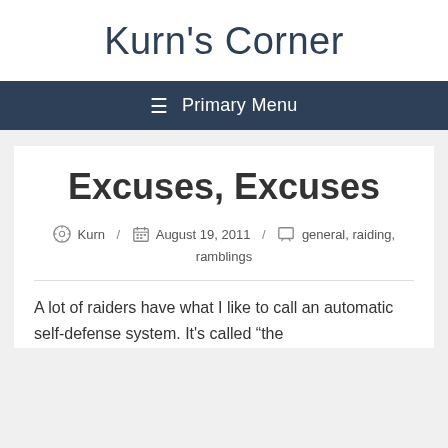Kurn's Corner
≡ Primary Menu
Excuses, Excuses
Kurn / August 19, 2011 / general, raiding, ramblings
A lot of raiders have what I like to call an automatic self-defense system. It's called "the